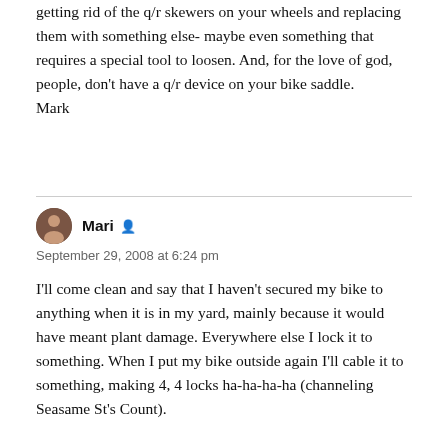getting rid of the q/r skewers on your wheels and replacing them with something else- maybe even something that requires a special tool to loosen. And, for the love of god, people, don't have a q/r device on your bike saddle.
Mark
Mari
September 29, 2008 at 6:24 pm
I'll come clean and say that I haven't secured my bike to anything when it is in my yard, mainly because it would have meant plant damage. Everywhere else I lock it to something. When I put my bike outside again I'll cable it to something, making 4, 4 locks ha-ha-ha-ha (channeling Seasame St's Count).